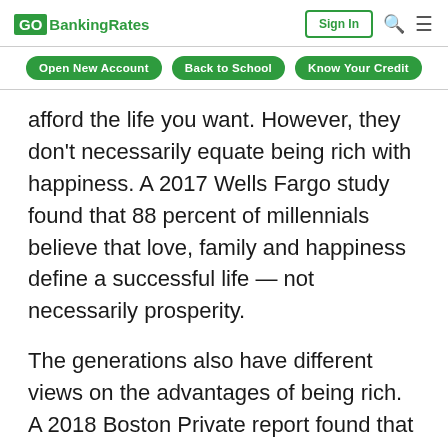GOBankingRates | Sign In
Open New Account | Back to School | Know Your Credit
afford the life you want. However, they don't necessarily equate being rich with happiness. A 2017 Wells Fargo study found that 88 percent of millennials believe that love, family and happiness define a successful life — not necessarily prosperity.
The generations also have different views on the advantages of being rich. A 2018 Boston Private report found that millennials are much more likely than baby boomers to associate wealth with power and influence, while baby boomers and Gen X-ers were more likely than millennials to associate wealth with